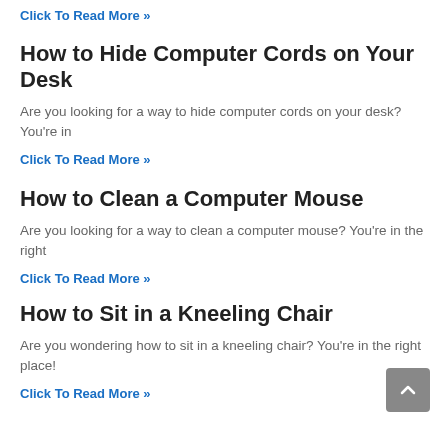Click To Read More »
How to Hide Computer Cords on Your Desk
Are you looking for a way to hide computer cords on your desk? You're in
Click To Read More »
How to Clean a Computer Mouse
Are you looking for a way to clean a computer mouse? You're in the right
Click To Read More »
How to Sit in a Kneeling Chair
Are you wondering how to sit in a kneeling chair? You're in the right place!
Click To Read More »